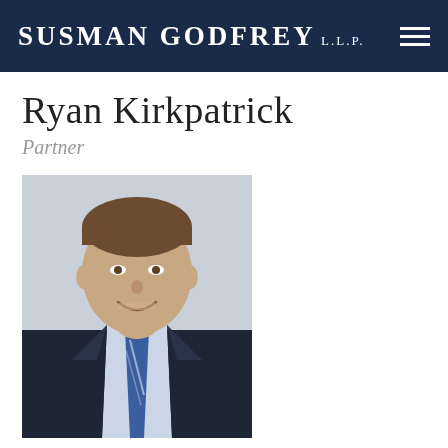Susman Godfrey L.L.P.
Ryan Kirkpatrick
Partner
[Figure (photo): Professional headshot of Ryan Kirkpatrick, a man in a dark suit with a blue and white striped tie and light blue dress shirt, smiling, against a neutral background.]
New York Office